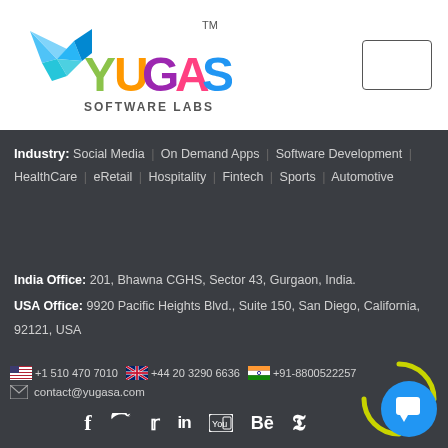[Figure (logo): Yugasa Software Labs logo with colorful bird and text]
Industry: Social Media | On Demand Apps | Software Development | HealthCare | eRetail | Hospitality | Fintech | Sports | Automotive
India Office: 201, Bhawna CGHS, Sector 43, Gurgaon, India.
USA Office: 9920 Pacific Heights Blvd., Suite 150, San Diego, California, 92121, USA
+1 510 470 7010 | +44 20 3290 6636 | +91-8800522257 | contact@yugasa.com
[Figure (infographic): Social media icons: Facebook, Twitter, LinkedIn, YouTube, Behance, Pinterest]